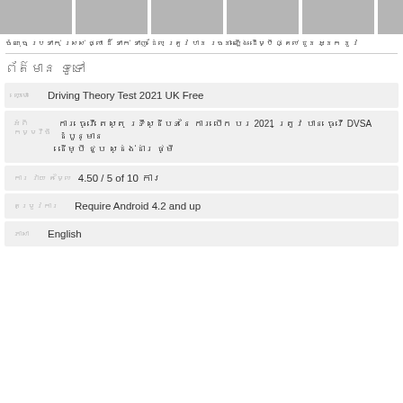[Figure (photo): Row of app screenshot thumbnails, partially cut off at top of page]
ចំណុច ប្រទាក់ ស្រស់ ថ្លា ដ៏ ទាក់ ទាញ ដែល ត្រូវ បាន រចនា ឡើង ដើម្បី ផ្តល់ ជូន អ្នក នូវ
ព័ត៌មាន ទូទៅ
ឈ្មោះ   Driving Theory Test 2021 UK Free
អំពី កម្មវិធី   ការ ធ្វើ តេស្ត ទ្រឹស្ដីបទ នៃ ការ បើក បរ 2021 ត្រូវ បាន ធ្វើ DVSA ដំបូន្មាន ដើម្បី ជួប ស្ដង់ដារ ថ្មី
ការ វាយ តម្លៃ   4.50 / 5 of 10 ការ
តម្រូវការ   Require Android 4.2 and up
ភាសា   English